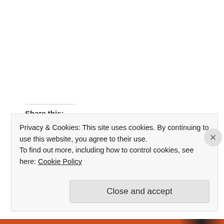Share this:
[Figure (illustration): Social sharing icons: Twitter (blue), Facebook (blue), Pinterest (red), Reddit (light blue), Email (grey)]
[Figure (illustration): Like button with star icon and blogger avatar photo]
One blogger likes this.
Writing
Privacy & Cookies: This site uses cookies. By continuing to use this website, you agree to their use.
To find out more, including how to control cookies, see here: Cookie Policy
Close and accept